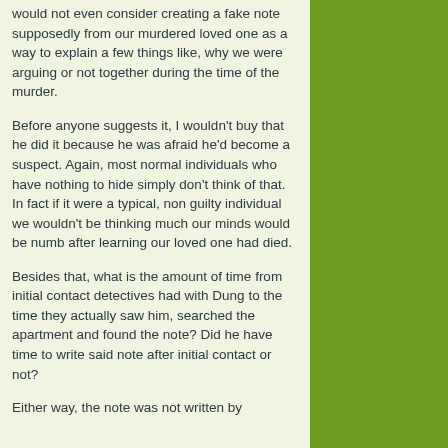would not even consider creating a fake note supposedly from our murdered loved one as a way to explain a few things like, why we were arguing or not together during the time of the murder.
Before anyone suggests it, I wouldn't buy that he did it because he was afraid he'd become a suspect. Again, most normal individuals who have nothing to hide simply don't think of that. In fact if it were a typical, non guilty individual we wouldn't be thinking much our minds would be numb after learning our loved one had died.
Besides that, what is the amount of time from initial contact detectives had with Dung to the time they actually saw him, searched the apartment and found the note? Did he have time to write said note after initial contact or not?
Either way, the note was not written by